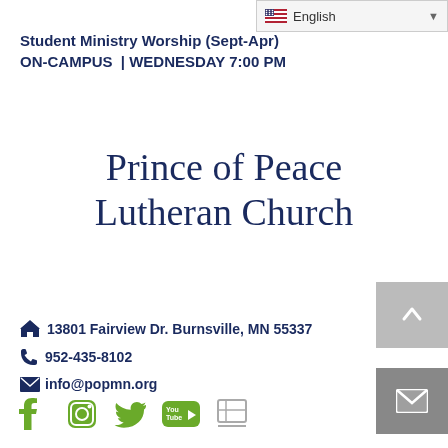[Figure (screenshot): Language selector dropdown showing flag of USA and text 'English' with dropdown arrow]
Student Ministry Worship (Sept-Apr)
ON-CAMPUS  |  WEDNESDAY 7:00 PM
Prince of Peace Lutheran Church
13801 Fairview Dr. Burnsville, MN 55337
952-435-8102
info@popmn.org
[Figure (infographic): Social media icons: Facebook, Instagram, Twitter, YouTube, and a contact/flag icon in green]